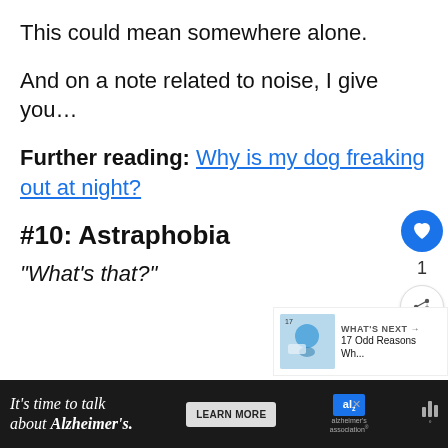This could mean somewhere alone.
And on a note related to noise, I give you…
Further reading: Why is my dog freaking out at night?
#10: Astraphobia
“What’s that?”
[Figure (infographic): What's Next sidebar showing '17 Odd Reasons Wh...' with small image]
[Figure (infographic): Alzheimer's Association advertisement banner at the bottom: 'It's time to talk about Alzheimer's.' with Learn More button and alzheimer's association logo]